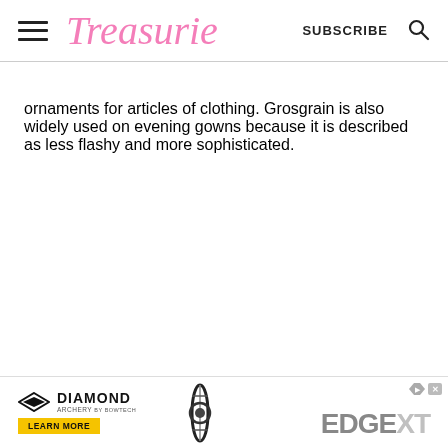Treasurie  SUBSCRIBE
ornaments for articles of clothing. Grosgrain is also widely used on evening gowns because it is described as less flashy and more sophisticated.
[Figure (infographic): Diamond Archery advertisement banner showing the Diamond Archery logo, a bow product image, Edge XT branding, and a Learn More button.]